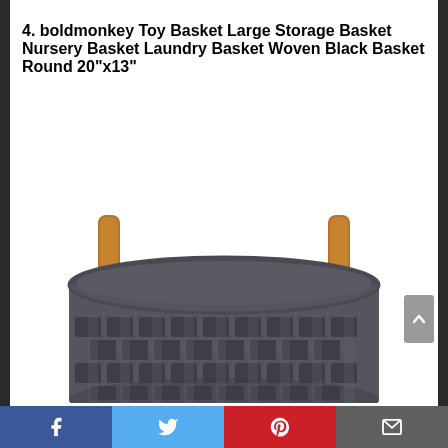4. boldmonkey Toy Basket Large Storage Basket Nursery Basket Laundry Basket Woven Black Basket Round 20"x13"
[Figure (photo): A large round woven dark charcoal gray felt storage basket with brown leather handles, photographed from slightly above on a white background. The basket has an interlocking woven pattern on the lower portion and smooth felt on the upper rim.]
Facebook  Twitter  Pinterest  Email